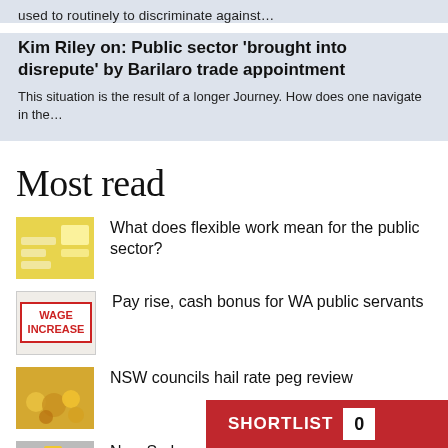used to routinely to discriminate against...
Kim Riley on: Public sector 'brought into disrepute' by Barilaro trade appointment
This situation is the result of a longer Journey. How does one navigate in the...
Most read
What does flexible work mean for the public sector?
Pay rise, cash bonus for WA public servants
NSW councils hail rate peg review
New Sydn... 'dangerous...